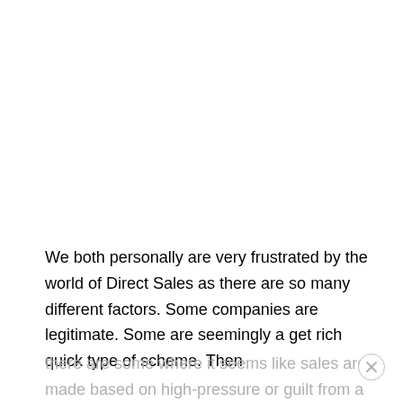We both personally are very frustrated by the world of Direct Sales as there are so many different factors.  Some companies are legitimate.  Some are seemingly a get rich quick type of scheme.  Then there are some where it seems like sales are made based on high-pressure or guilt from a friend or